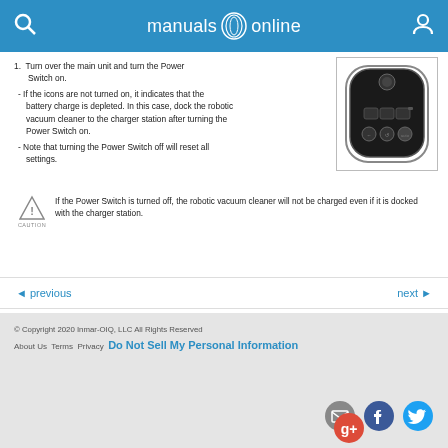manuals online
1. Turn over the main unit and turn the Power Switch on.
- If the icons are not turned on, it indicates that the battery charge is depleted. In this case, dock the robotic vacuum cleaner to the charger station after turning the Power Switch on.
- Note that turning the Power Switch off will reset all settings.
[Figure (photo): Robotic vacuum cleaner top view showing control panel with buttons]
If the Power Switch is turned off, the robotic vacuum cleaner will not be charged even if it is docked with the charger station.
previous | next | © Copyright 2020 Inmar-OIQ, LLC All Rights Reserved | About Us | Terms | Privacy | Do Not Sell My Personal Information